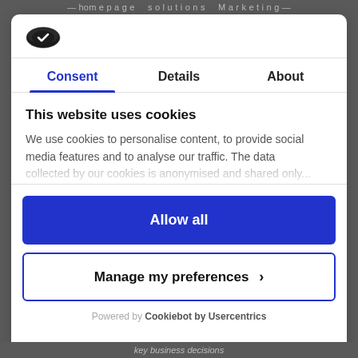[Figure (logo): Cookiebot/Usercentrics logo — dark oval cookie shape icon]
Consent | Details | About (tabs, Consent active)
This website uses cookies
We use cookies to personalise content, to provide social media features and to analyse our traffic. The data collected by our cookies is anonymised and shared only...
Allow all
Manage my preferences >
Powered by Cookiebot by Usercentrics